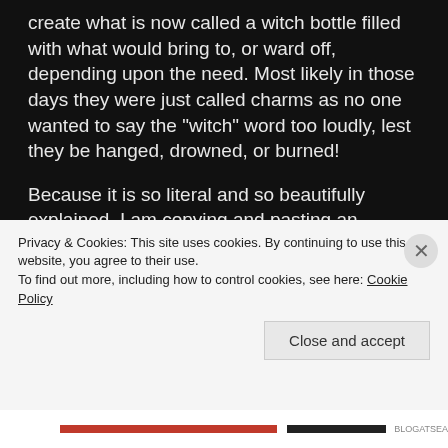create what is now called a witch bottle filled with what would bring to, or ward off, depending upon the need. Most likely in those days they were just called charms as no one wanted to say the "witch" word too loudly, lest they be hanged, drowned, or burned!
Because it is so literal and so beautifully explained, I am copying and pasting an excerpt from Wikipedia:
One of the earliest descriptions of a witch bottle in Suffolk, England, appears in 1681 in Joseph
Privacy & Cookies: This site uses cookies. By continuing to use this website, you agree to their use.
To find out more, including how to control cookies, see here: Cookie Policy
Close and accept